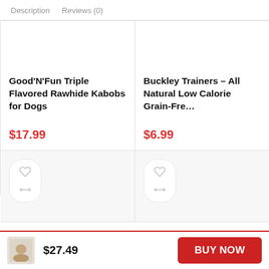Description   Reviews (0)
Good’N’Fun Triple Flavored Rawhide Kabobs for Dogs
$17.99
Buckley Trainers – All Natural Low Calorie Grain-Fre...
$6.99
$27.49
BUY NOW